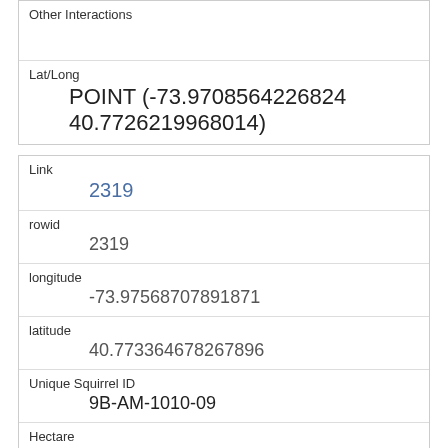| Other Interactions |  |
| Lat/Long | POINT (-73.9708564226824 40.7726219968014) |
| Link | 2319 |
| rowid | 2319 |
| longitude | -73.97568707891871 |
| latitude | 40.773364678267896 |
| Unique Squirrel ID | 9B-AM-1010-09 |
| Hectare | 09B |
| Shift | AM |
| Date |  |